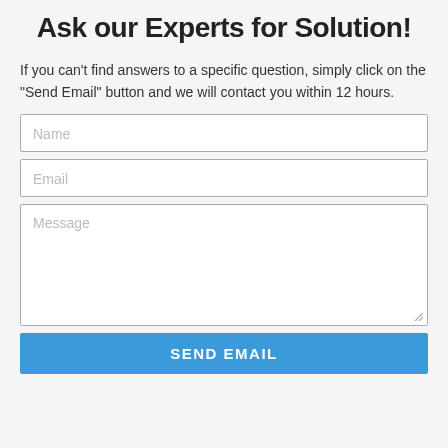Ask our Experts for Solution!
If you can't find answers to a specific question, simply click on the “Send Email” button and we will contact you within 12 hours.
[Figure (other): Web form with Name input field, Email input field, Message textarea, and a Send Email button]
SEND EMAIL